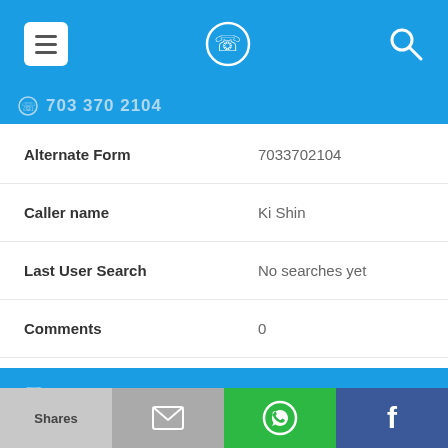Navigation bar with menu, phone locator icon, and search icon
703 370 2104 (partial, truncated)
| Field | Value |
| --- | --- |
| Alternate Form | 7033702104 |
| Caller name | Ki Shin |
| Last User Search | No searches yet |
| Comments | 0 |
703-370-2897
| Field | Value |
| --- | --- |
| Alternate Form | 7033702897 |
Shares | (email icon) | (WhatsApp icon) | (Facebook icon)